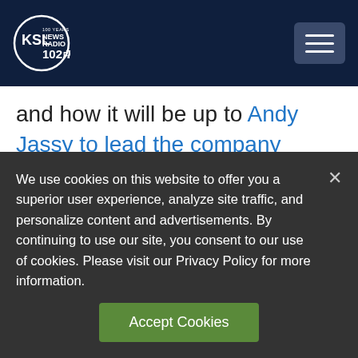KSL NewsRadio 102.7FM
and how it will be up to Andy Jassy to lead the company forward as CEO.
On Tuesday, Amazon announced that Bezos would step aside this summer and assume the role of executive chairman so he can focus on new products and early initiatives
We use cookies on this website to offer you a superior user experience, analyze site traffic, and personalize content and advertisements. By continuing to use our site, you consent to our use of cookies. Please visit our Privacy Policy for more information.
Accept Cookies